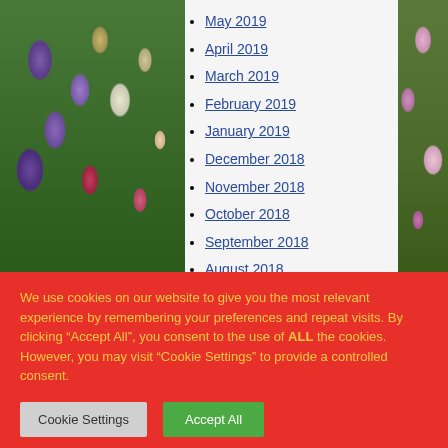May 2019
April 2019
March 2019
February 2019
January 2019
December 2018
November 2018
October 2018
September 2018
August 2018
July 2018
We use cookies on our website to give you the most relevant experience by remembering your preferences and repeat visits. By clicking “Accept All”, you consent to the use of ALL the cookies. However, you may visit "Cookie Settings" to provide a controlled consent.